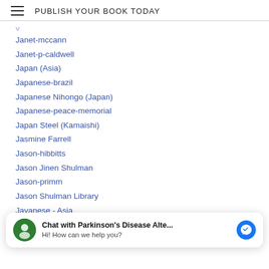PUBLISH YOUR BOOK TODAY
Janet-mccann
Janet-p-caldwell
Japan (Asia)
Japanese-brazil
Japanese Nihongo (Japan)
Japanese-peace-memorial
Japan Steel (Kamaishi)
Jasmine Farrell
Jason-hibbitts
Jason Jinen Shulman
Jason-primm
Jason Shulman Library
Javanese - Asia
[Figure (screenshot): Chat widget: Chat with Parkinson's Disease Alte... Hi! How can we help you?]
J-barrett-wolf